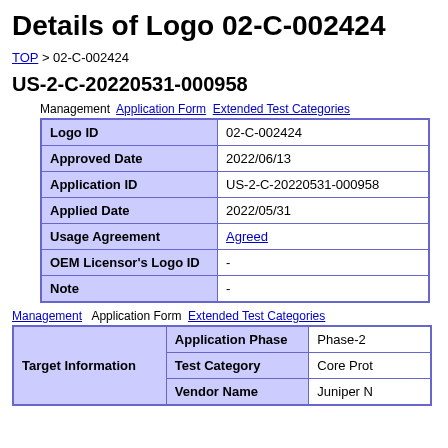Details of Logo 02-C-002424
TOP > 02-C-002424
US-2-C-20220531-000958
| Field | Value |
| --- | --- |
| Logo ID | 02-C-002424 |
| Approved Date | 2022/06/13 |
| Application ID | US-2-C-20220531-000958 |
| Applied Date | 2022/05/31 |
| Usage Agreement | Agreed |
| OEM Licensor's Logo ID | - |
| Note | - |
| Target Information | Application Phase |  |
| --- | --- | --- |
|  | Application Phase | Phase-2 |
|  | Test Category | Core Prot |
|  | Vendor Name | Juniper N |